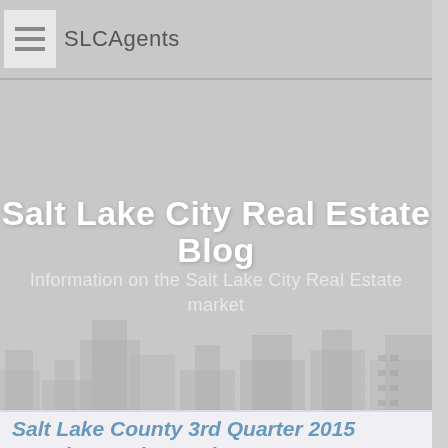SLCAgents
[Figure (illustration): Hero banner showing Salt Lake City Real Estate Blog with a faded city skyline illustration in the background. Gray/beige toned background with buildings silhouette.]
Salt Lake City Real Estate Blog
Information on the Salt Lake City Real Estate market
Salt Lake County 3rd Quarter 2015 Housing Market Update